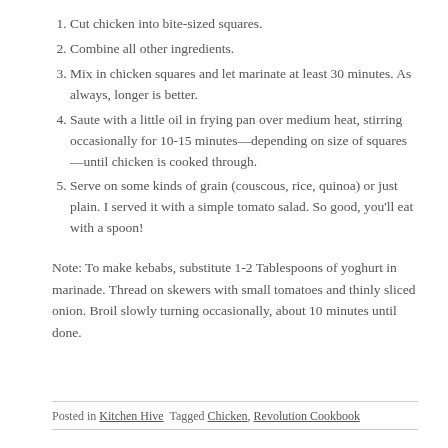Cut chicken into bite-sized squares.
Combine all other ingredients.
Mix in chicken squares and let marinate at least 30 minutes. As always, longer is better.
Saute with a little oil in frying pan over medium heat, stirring occasionally for 10-15 minutes—depending on size of squares—until chicken is cooked through.
Serve on some kinds of grain (couscous, rice, quinoa) or just plain. I served it with a simple tomato salad. So good, you'll eat with a spoon!
Note: To make kebabs, substitute 1-2 Tablespoons of yoghurt in marinade. Thread on skewers with small tomatoes and thinly sliced onion. Broil slowly turning occasionally, about 10 minutes until done.
Posted in Kitchen Hive  Tagged Chicken, Revolution Cookbook